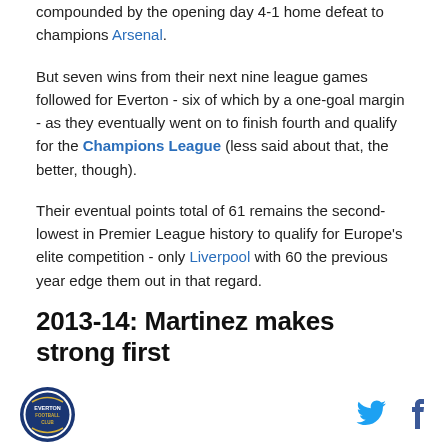compounded by the opening day 4-1 home defeat to champions Arsenal.
But seven wins from their next nine league games followed for Everton - six of which by a one-goal margin - as they eventually went on to finish fourth and qualify for the Champions League (less said about that, the better, though).
Their eventual points total of 61 remains the second-lowest in Premier League history to qualify for Europe's elite competition - only Liverpool with 60 the previous year edge them out in that regard.
2013-14: Martinez makes strong first
[Figure (logo): Everton FC circular crest logo in blue and white]
[Figure (other): Twitter bird icon and Facebook f icon for social sharing]